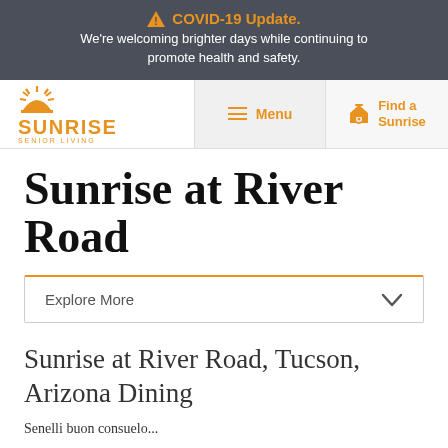⚠ COVID-19 Update.
We're welcoming brighter days while continuing to promote health and safety.
[Figure (logo): Sunrise Senior Living logo with sun rays graphic and wordmark]
Sunrise at River Road
Explore More
Sunrise at River Road, Tucson, Arizona Dining
Senelli buon...